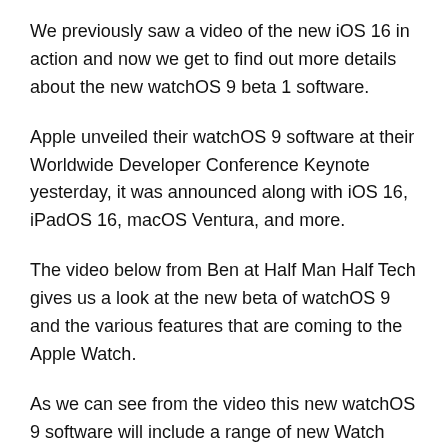We previously saw a video of the new iOS 16 in action and now we get to find out more details about the new watchOS 9 beta 1 software.
Apple unveiled their watchOS 9 software at their Worldwide Developer Conference Keynote yesterday, it was announced along with iOS 16, iPadOS 16, macOS Ventura, and more.
The video below from Ben at Half Man Half Tech gives us a look at the new beta of watchOS 9 and the various features that are coming to the Apple Watch.
As we can see from the video this new watchOS 9 software will include a range of new Watch Faces, plus some updates for Fitness+, the Workout App, updated for Running, Swimming and more.
The new watchOS 9 Beta 1 is now available for developers to test out, we are expecting the first public beta of the software to be